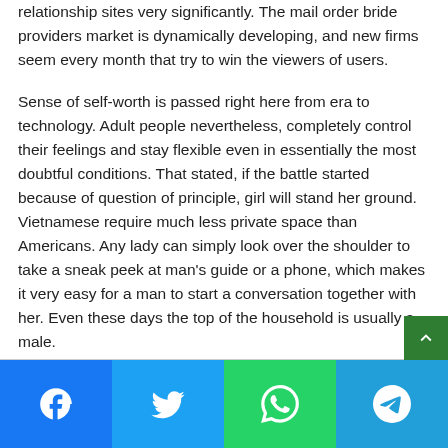relationship sites very significantly. The mail order bride providers market is dynamically developing, and new firms seem every month that try to win the viewers of users.
Sense of self-worth is passed right here from era to technology. Adult people nevertheless, completely control their feelings and stay flexible even in essentially the most doubtful conditions. That stated, if the battle started because of question of principle, girl will stand her ground. Vietnamese require much less private space than Americans. Any lady can simply look over the shoulder to take a sneak peek at man's guide or a phone, which makes it very easy for a man to start a conversation together with her. Even these days the top of the household is usually a male.
[Figure (other): Social sharing bar with Facebook, Twitter, WhatsApp, and Telegram buttons]